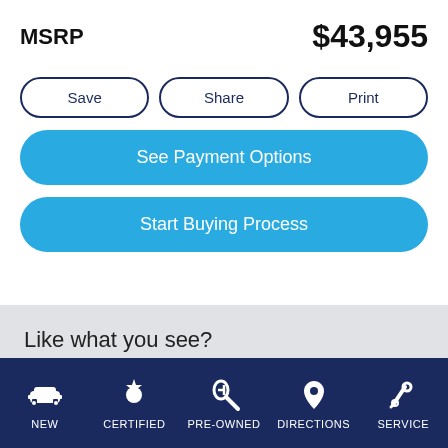MSRP   $43,955
Save
Share
Print
See Payment Options
Start Buying Process
Like what you see?
Take the next steps...
NEW   CERTIFIED   PRE-OWNED   DIRECTIONS   SERVICE